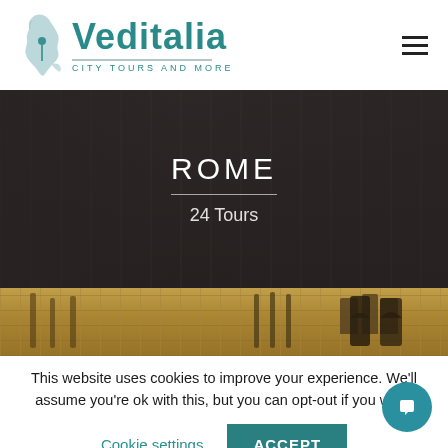[Figure (logo): Veditalia logo with Italy map icon, teal text reading 'Veditalia' and tagline 'CITY TOURS AND MORE']
[Figure (photo): Dark hero banner showing Rome street/interior scene with overlay text 'ROME' and '24 Tours']
ROME
24 Tours
[Figure (photo): Partial image strip showing a stone/mosaic architectural facade with gothic windows]
This website uses cookies to improve your experience. We'll assume you're ok with this, but you can opt-out if you wish.
Cookie settings
ACCEPT